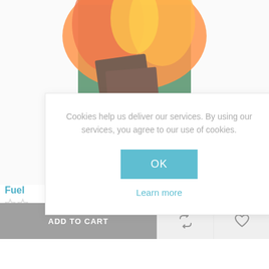[Figure (photo): Product packaging image of Natural Firelighters with fire flames in the background, showing a green box with text 'Fast, clean, odourless - Natural Firelighters' and an FSC logo]
Fuel
£0.98
Cookies help us deliver our services. By using our services, you agree to our use of cookies.
OK
Learn more
ADD TO CART